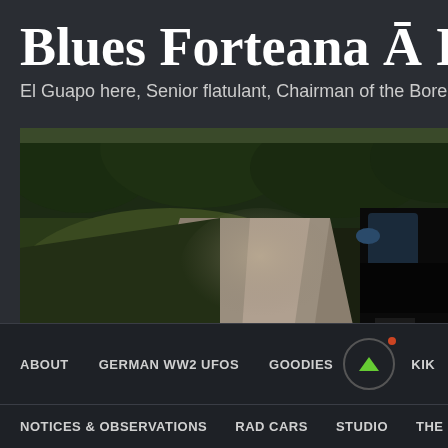Blues Forteana Ā Iggy
El Guapo here, Senior flatulant, Chairman of the Bored,
[Figure (photo): Dark photograph showing a gravel path or driveway with green grass on the left side and a black car parked on the right side, with trees in the background.]
ABOUT   GERMAN WW2 UFOS   GOODIES   KIK   NOTICES & OBSERVATIONS   RAD CARS   STUDIO   THE